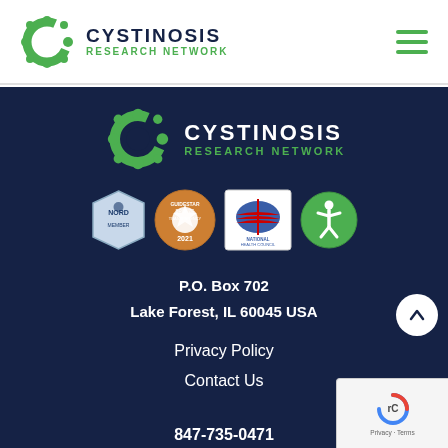[Figure (logo): Cystinosis Research Network logo with green molecular figure and teal/green text in white header bar]
[Figure (logo): Hamburger menu icon (three green horizontal bars) in top right of header]
[Figure (logo): Cystinosis Research Network logo (white text) on dark navy background in footer]
[Figure (logo): Four certification/affiliation badge logos: NORD, GuideStar Bronze Transparency 2021, National Health Council, Accessibility icon]
P.O. Box 702
Lake Forest, IL 60045 USA
Privacy Policy
Contact Us
847-735-0471